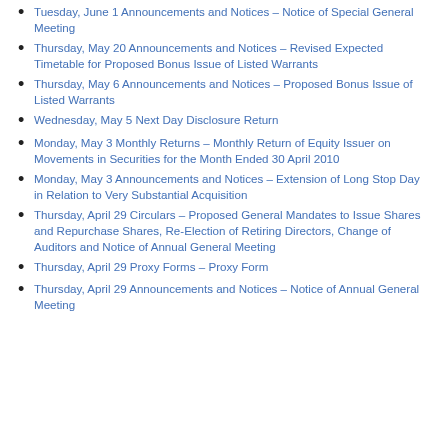Tuesday, June 1 Announcements and Notices – Notice of Special General Meeting
Thursday, May 20 Announcements and Notices – Revised Expected Timetable for Proposed Bonus Issue of Listed Warrants
Thursday, May 6 Announcements and Notices – Proposed Bonus Issue of Listed Warrants
Wednesday, May 5 Next Day Disclosure Return
Monday, May 3 Monthly Returns – Monthly Return of Equity Issuer on Movements in Securities for the Month Ended 30 April 2010
Monday, May 3 Announcements and Notices – Extension of Long Stop Day in Relation to Very Substantial Acquisition
Thursday, April 29 Circulars – Proposed General Mandates to Issue Shares and Repurchase Shares, Re-Election of Retiring Directors, Change of Auditors and Notice of Annual General Meeting
Thursday, April 29 Proxy Forms – Proxy Form
Thursday, April 29 Announcements and Notices – Notice of Annual General Meeting